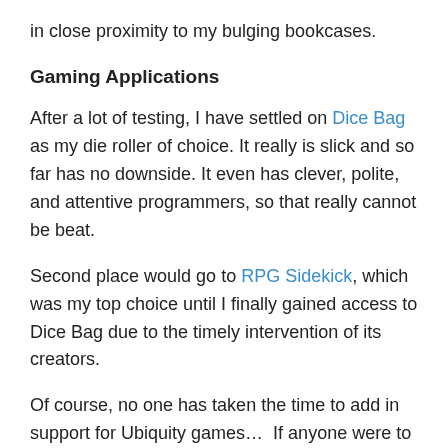in close proximity to my bulging bookcases.
Gaming Applications
After a lot of testing, I have settled on Dice Bag as my die roller of choice. It really is slick and so far has no downside. It even has clever, polite, and attentive programmers, so that really cannot be beat.
Second place would go to RPG Sidekick, which was my top choice until I finally gained access to Dice Bag due to the timely intervention of its creators.
Of course, no one has taken the time to add in support for Ubiquity games…  If anyone were to do that, I might have to reevaluate.
Sync Voice Note has also been of great use to me,